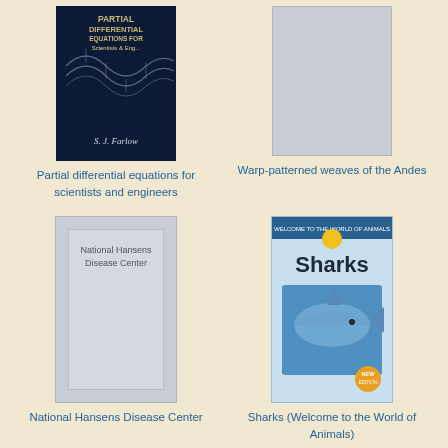[Figure (photo): Book cover: Partial differential equations for scientists and engineers by S.J. Farlow, dark navy blue cover with wave/DNA pattern]
Partial differential equations for scientists and engineers
[Figure (photo): Gray placeholder book cover for Warp-patterned weaves of the Andes]
Warp-patterned weaves of the Andes
[Figure (photo): Gray placeholder book cover for National Hansens Disease Center]
National Hansens Disease Center
[Figure (photo): Book cover: Sharks (Welcome to the World of Animals), light blue cover with shark image]
Sharks (Welcome to the World of Animals)